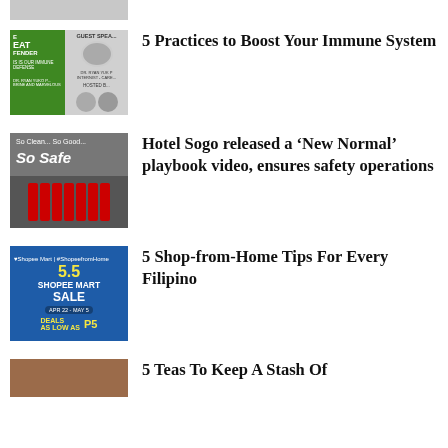[Figure (photo): Partial top thumbnail, cropped image visible at top of page]
[Figure (photo): Thumbnail for immune system article showing green and gray event promotional image with text 'GREAT DEFENDER' and guest speaker]
5 Practices to Boost Your Immune System
[Figure (photo): Hotel Sogo 'So Clean... So Good... So Safe' promotional image with staff in red uniforms]
Hotel Sogo released a ‘New Normal’ playbook video, ensures safety operations
[Figure (photo): Shopee 5.5 Shopee Mart Sale promotional image, blue background, April 22 - May 5 dates, P55 and P5 deals]
5 Shop-from-Home Tips For Every Filipino
[Figure (photo): Partial thumbnail for tea article, brown/tea colored image]
5 Teas To Keep A Stash Of